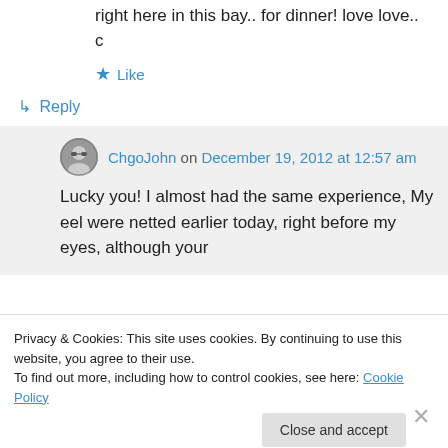right here in this bay.. for dinner! love love.. c
Like
Reply
ChgoJohn on December 19, 2012 at 12:57 am
Lucky you! I almost had the same experience, My eel were netted earlier today, right before my eyes, although your
Privacy & Cookies: This site uses cookies. By continuing to use this website, you agree to their use.
To find out more, including how to control cookies, see here: Cookie Policy
Close and accept